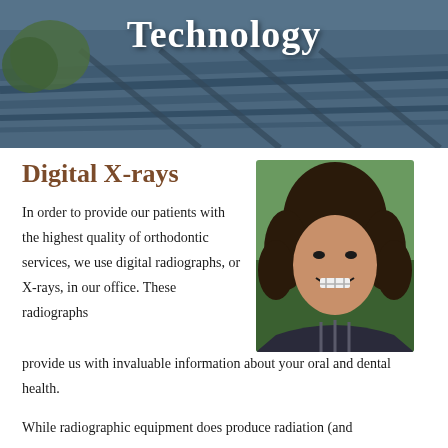[Figure (photo): Background photo of a building with architectural grid/lattice structure and trees, with white bold 'Technology' text overlay]
Technology
Digital X-rays
[Figure (photo): Portrait photo of a smiling teenage girl with curly dark hair wearing dental braces]
In order to provide our patients with the highest quality of orthodontic services, we use digital radiographs, or X-rays, in our office. These radiographs provide us with invaluable information about your oral and dental health.
While radiographic equipment does produce radiation (and